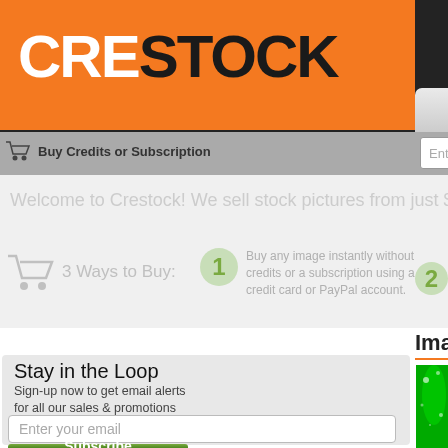[Figure (logo): Crestock logo - CRE in white on orange background, STOCK in black on orange background]
Search | How to Buy | Ho
Buy Credits or Subscription
Enter keywords to find royalty-free phot
Welcome to Crestock! We sell stock pictures from just $
3 Ways to Buy:
Buy any image instantly without credits or a subscription using a credit card or PayPal account.
Image 4264177: Abstract b
Stay in the Loop
Sign-up now to get email alerts for all our sales & promotions
Enter your email
Subscribe